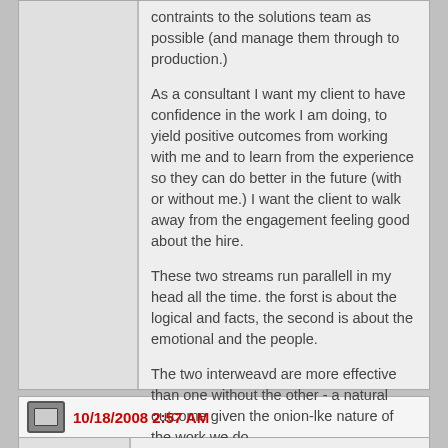contraints to the solutions team as possible (and manage them through to production.)
As a consultant I want my client to have confidence in the work I am doing, to yield positive outcomes from working with me and to learn from the experience so they can do better in the future (with or without me.)  I want the client to walk away from the engagement feeling good about the hire.
These two streams run parallell in my head all the time.  the forst is about the logical and facts, the second is about the emotional and the people.
The two interweavd are more effective than one without the other - a natural outcome given the onion-lke nature of the work we do.
10/18/2008 2:57 AM